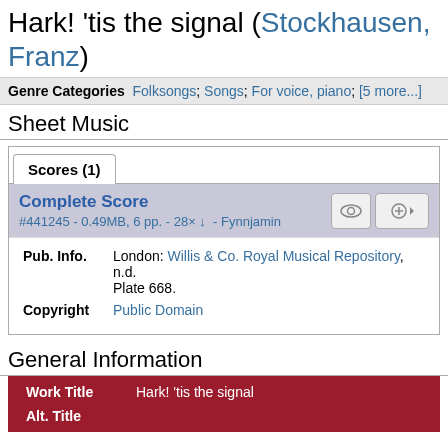Hark! 'tis the signal (Stockhausen, Franz)
Genre Categories  Folksongs; Songs; For voice, piano; [5 more...]
Sheet Music
Scores (1)
Complete Score
#441245 - 0.49MB, 6 pp. - 28× ↓ - Fynnjamin
Pub. Info.  London: Willis & Co. Royal Musical Repository, n.d. Plate 668.
Copyright  Public Domain
General Information
|  |  |
| --- | --- |
| Work Title | Hark! 'tis the signal |
| Alt. Title |  |